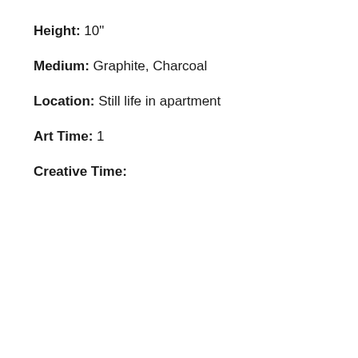Height: 10"
Medium: Graphite, Charcoal
Location: Still life in apartment
Art Time: 1
Creative Time: